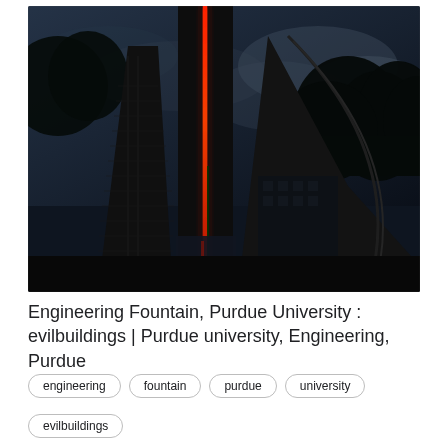[Figure (photo): Nighttime photo of the Engineering Fountain at Purdue University. A tall dark sculptural structure with a glowing vertical red light strip in the center, set against a dark cloudy sky with trees silhouetted in the background.]
Engineering Fountain, Purdue University : evilbuildings | Purdue university, Engineering, Purdue
engineering
fountain
purdue
university
evilbuildings